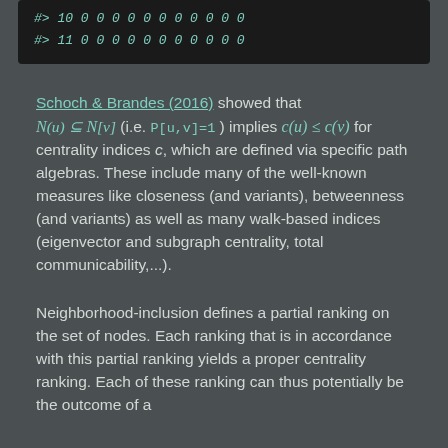#> 10 0 0 0 0 0 0 0 0 0 0 0
#> 11 0 0 0 0 0 0 0 0 0 0 0
Schoch & Brandes (2016) showed that N(u) ⊆ N[v] (i.e. P[u,v]=1) implies c(u) ≤ c(v) for centrality indices c, which are defined via specific path algebras. These include many of the well-known measures like closeness (and variants), betweenness (and variants) as well as many walk-based indices (eigenvector and subgraph centrality, total communicability,...).
Neighborhood-inclusion defines a partial ranking on the set of nodes. Each ranking that is in accordance with this partial ranking yields a proper centrality ranking. Each of these ranking can thus potentially be the outcome of a